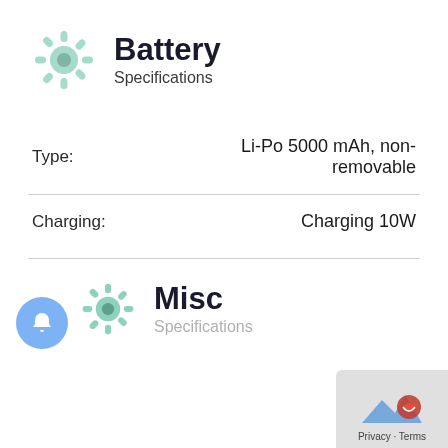Battery
Specifications
| Field | Value |
| --- | --- |
| Type: | Li-Po 5000 mAh, non-removable |
| Charging: | Charging 10W |
Misc
Specifications